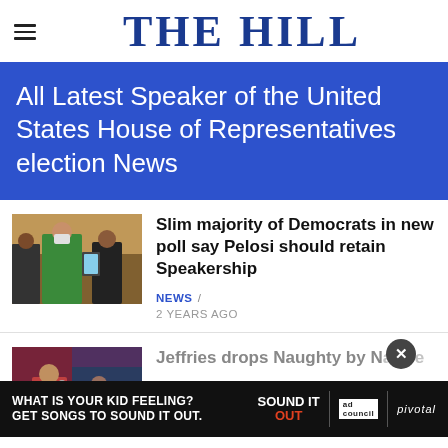THE HILL
All Latest Speaker of the United States House of Representatives election News
[Figure (photo): Photo of Nancy Pelosi in green dress with mask walking with others]
Slim majority of Democrats in new poll say Pelosi should retain Speakership
NEWS / 2 YEARS AGO
[Figure (photo): Partial photo of Jeffries article thumbnail]
Jeffries drops Naughty by Nature
[Figure (other): Advertisement banner: WHAT IS YOUR KID FEELING? GET SONGS TO SOUND IT OUT. Sound It Out / ad council / pivotal]